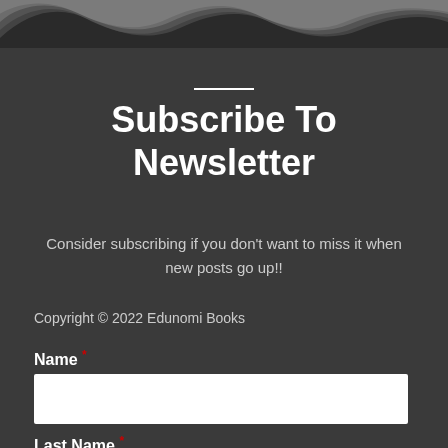[Figure (illustration): Decorative wave/smoke pattern at the top of the page in white on dark background]
Subscribe To Newsletter
Consider subscribing if you don't want to miss it when new posts go up!!
Copyright © 2022 Edunomi Books
Name *
Last Name *